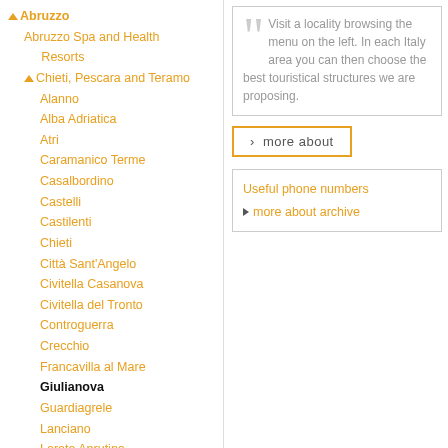Abruzzo
Abruzzo Spa and Health Resorts
Chieti, Pescara and Teramo
Alanno
Alba Adriatica
Atri
Caramanico Terme
Casalbordino
Castelli
Castilenti
Chieti
Città Sant'Angelo
Civitella Casanova
Civitella del Tronto
Controguerra
Crecchio
Francavilla al Mare
Giulianova
Guardiagrele
Lanciano
Loreto Aprutino
Miglianico
Montesilvano
Montorio al Vomano
Visit a locality browsing the menu on the left. In each Italy area you can then choose the best touristical structures we are proposing.
› more about
Useful phone numbers
▶ more about archive